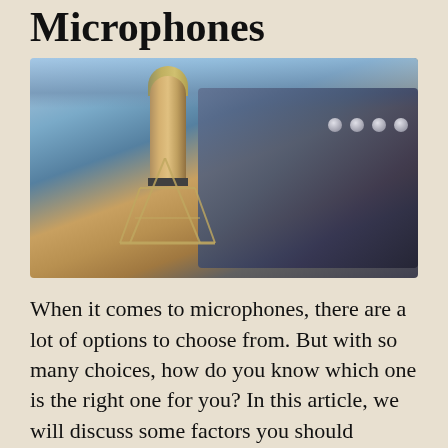Microphones
[Figure (photo): A large-diaphragm condenser microphone on a shock mount stand in a recording studio, with a mixing board blurred in the background. Studio lighting with blue ambient light.]
When it comes to microphones, there are a lot of options to choose from. But with so many choices, how do you know which one is the right one for you? In this article, we will discuss some factors you should consider when choosing the most expensive